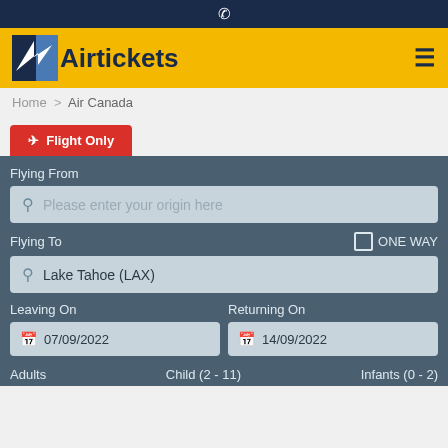☎
[Figure (logo): Airtickets logo with airplane icon on yellow background header]
Home > Air Canada
✈ Flight Only
Flying From
Please enter your origin here
Flying To
ONE WAY
Lake Tahoe (LAX)
Leaving On
Returning On
07/09/2022
14/09/2022
Adults   Child (2 - 11)   Infants (0 - 2)